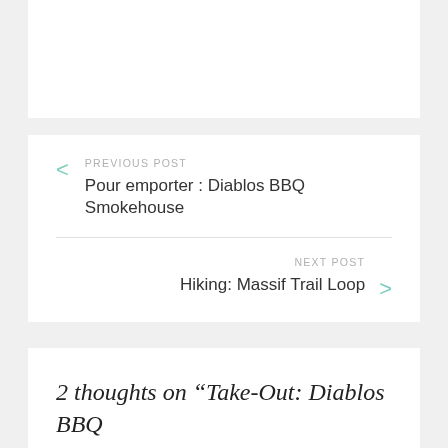PREVIOUS POST
Pour emporter : Diablos BBQ Smokehouse
NEXT POST
Hiking: Massif Trail Loop
2 thoughts on “Take-Out: Diablos BBQ Smokehouse”